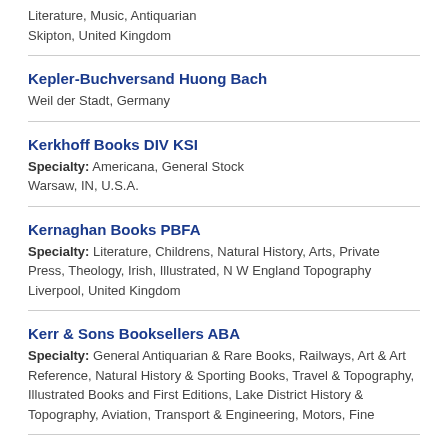Literature, Music, Antiquarian
Skipton, United Kingdom
Kepler-Buchversand Huong Bach
Weil der Stadt, Germany
Kerkhoff Books DIV KSI
Specialty: Americana, General Stock
Warsaw, IN, U.S.A.
Kernaghan Books PBFA
Specialty: Literature, Childrens, Natural History, Arts, Private Press, Theology, Irish, Illustrated, N W England Topography
Liverpool, United Kingdom
Kerr & Sons Booksellers ABA
Specialty: General Antiquarian & Rare Books, Railways, Art & Art Reference, Natural History & Sporting Books, Travel & Topography, Illustrated Books and First Editions, Lake District History & Topography, Aviation, Transport & Engineering, Motors, Fine